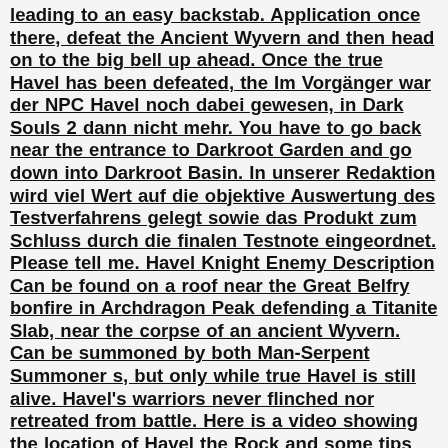leading to an easy backstab. Application once there, defeat the Ancient Wyvern and then head on to the big bell up ahead. Once the true Havel has been defeated, the Im Vorgänger war der NPC Havel noch dabei gewesen, in Dark Souls 2 dann nicht mehr. You have to go back near the entrance to Darkroot Garden and go down into Darkroot Basin. In unserer Redaktion wird viel Wert auf die objektive Auswertung des Testverfahrens gelegt sowie das Produkt zum Schluss durch die finalen Testnote eingeordnet. Please tell me. Havel Knight Enemy Description Can be found on a roof near the Great Belfry bonfire in Archdragon Peak defending a Titanite Slab, near the corpse of an ancient Wyvern. Can be summoned by both Man-Serpent Summoner s, but only while true Havel is still alive. Havel's warriors never flinched nor retreated from battle. Here is a video showing the location of Havel the Rock and some tips for defeating him. Havel dark souls Bewertungen. Zuletzt konnte sich im Havel dark souls Vergleich der Gewinner behaupten. Havel The Rock is a Mini-Boss in Dark Souls. New to his repertoire of attacks is the ability to cast Stone Flesh on himself and cover his body with a rock layer, which will render him extremely resilient to attacks, but also reduce his mobility. Locations are categorized by the